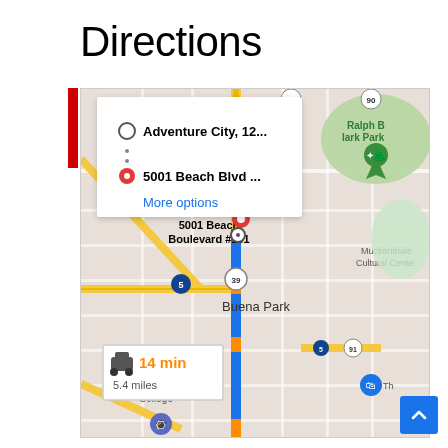Directions
[Figure (screenshot): Google Maps screenshot showing directions from Adventure City to 5001 Beach Blvd #101, Buena Park, CA. Route shown in blue along route 39. Travel time: 14 min, 5.4 miles. Map shows Ralph B Clark Park, Muckenthaler Cultural Center, Cypress College, and Buena Park area.]